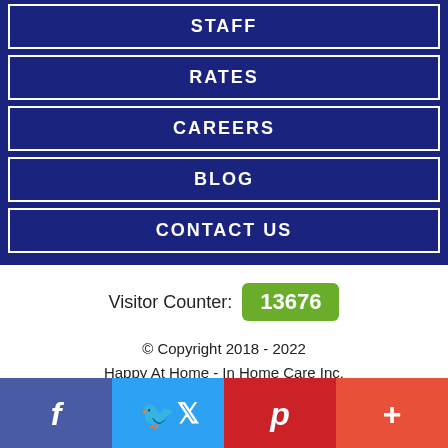STAFF
RATES
CAREERS
BLOG
CONTACT US
Visitor Counter: 13676
© Copyright 2018 - 2022
Happy At Home - In Home Care Inc.
Designed by Proweaver